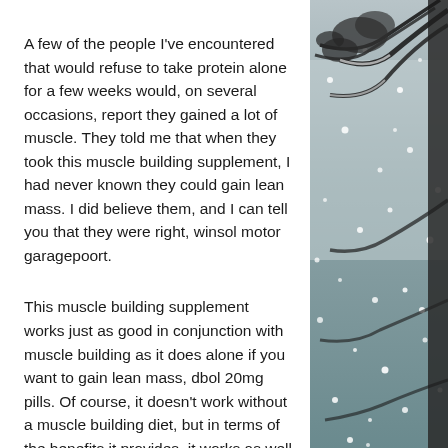A few of the people I've encountered that would refuse to take protein alone for a few weeks would, on several occasions, report they gained a lot of muscle. They told me that when they took this muscle building supplement, I had never known they could gain lean mass. I did believe them, and I can tell you that they were right, winsol motor garagepoort.
This muscle building supplement works just as good in conjunction with muscle building as it does alone if you want to gain lean mass, dbol 20mg pills. Of course, it doesn't work without a muscle building diet, but in terms of the benefits it provides, it works as well with a bodybuilding diet.
[Figure (photo): Black and white winter photo of snow-covered tree branches with snow falling, occupying the right column of the page.]